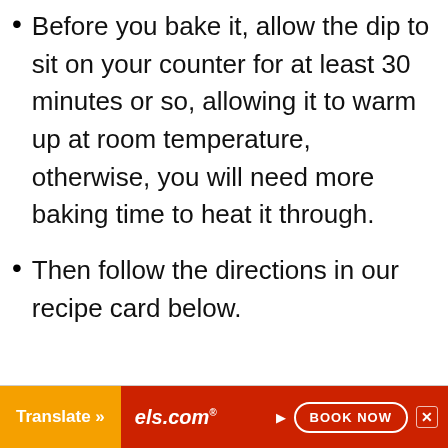Before you bake it, allow the dip to sit on your counter for at least 30 minutes or so, allowing it to warm up at room temperature, otherwise, you will need more baking time to heat it through.
Then follow the directions in our recipe card below.